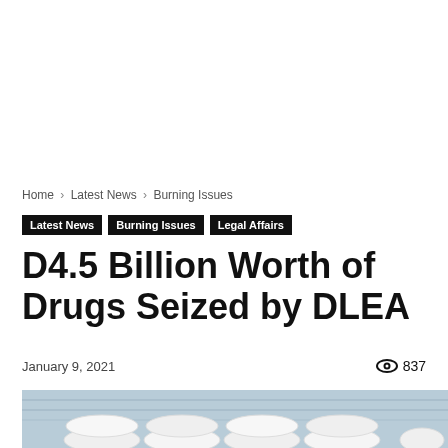Home › Latest News › Burning Issues
Latest News  Burning Issues  Legal Affairs
D4.5 Billion Worth of Drugs Seized by DLEA
January 9, 2021
837
[Figure (photo): Stacked white bags of seized drugs inside a shipping container with blue metal walls]